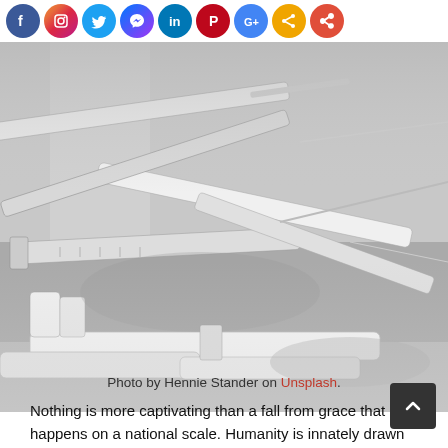[Figure (other): Row of social media share icon buttons: Facebook (blue), Instagram (gradient pink/purple/orange), Twitter (blue), Messenger (blue gradient), LinkedIn (blue), Pinterest (red), Google+ or similar (blue), another share icon (gold/yellow), and a general share icon (orange/red)]
[Figure (photo): Black and white photograph of a large pile of used medical syringes and needles scattered together]
Photo by Hennie Stander on Unsplash.
Nothing is more captivating than a fall from grace that happens on a national scale. Humanity is innately drawn to seeing someone lose it all after they seem to have it all. It's an